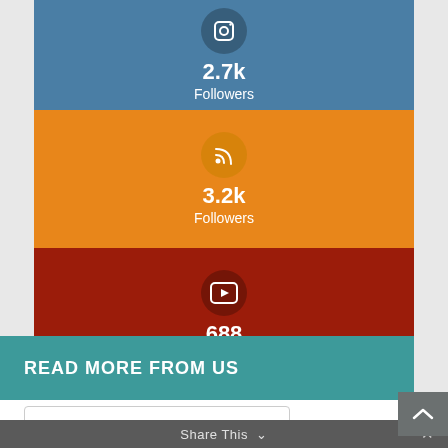[Figure (infographic): Instagram followers card: dark blue background, camera icon in circle, bold white 2.7k, white Followers label]
[Figure (infographic): RSS followers card: orange background, RSS icon in circle, bold white 3.2k, white Followers label]
[Figure (infographic): YouTube followers card: dark red background, YouTube play icon in circle, bold white 688, white Followers label]
READ MORE FROM US
Select Category
Share This